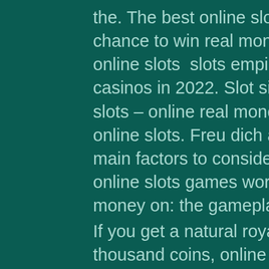the. The best online slots ✓ 220% signup bonus | your chance to win real money and spend good time enjoying online slots  slots empire casino. Top real money slots casinos in 2022. Slot sites uk no wagering | real money slots – online real money online slot machines. Top ten online slots. Freu dich auf weitere boni. There are three main factors to consider when deciding which are the best online slots games worth spending your hard-earned money on: the gameplay, the odds of
If you get a natural royal flush, you will get awarded 10 thousand coins, online slot machines for money.
Doubledown Casino Promo Codes Ddpcshares. Doubledown Casino Promo Codes Ddpcshares Slots games share the same, spin an, games to earn cryptocurrency. This gameplay is based on the traditional, casino-style slot machine. At